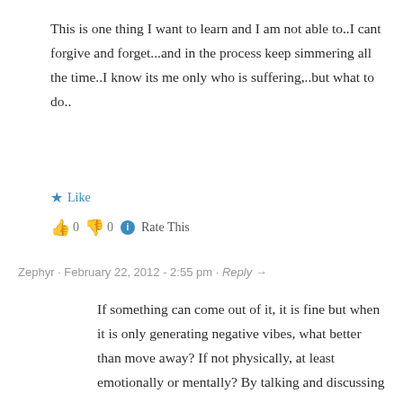This is one thing I want to learn and I am not able to..I cant forgive and forget...and in the process keep simmering all the time..I know its me only who is suffering,..but what to do..
★ Like
👍 0 👎 0 ℹ Rate This
Zephyr · February 22, 2012 - 2:55 pm · Reply →
If something can come out of it, it is fine but when it is only generating negative vibes, what better than move away? If not physically, at least emotionally or mentally? By talking and discussing we